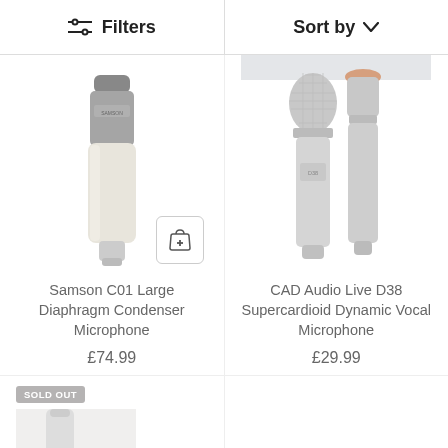Filters   Sort by
[Figure (photo): Samson C01 Large Diaphragm Condenser Microphone product image, silver/white body with grey top]
Samson C01 Large Diaphragm Condenser Microphone
£74.99
[Figure (photo): CAD Audio Live D38 Supercardioid Dynamic Vocal Microphone product image, two microphones shown side by side in light grey/white]
CAD Audio Live D38 Supercardioid Dynamic Vocal Microphone
£29.99
[Figure (photo): Partially visible product image at bottom left with SOLD OUT badge]